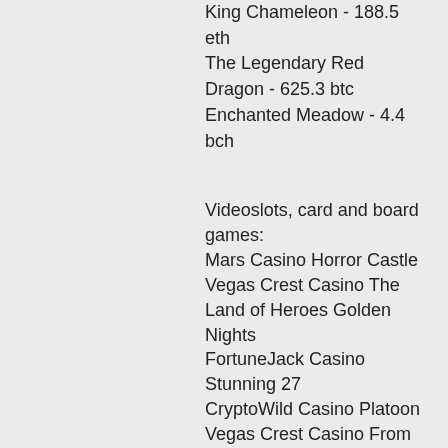King Chameleon - 188.5 eth
The Legendary Red Dragon - 625.3 btc
Enchanted Meadow - 4.4 bch
Videoslots, card and board games:
Mars Casino Horror Castle
Vegas Crest Casino The Land of Heroes Golden Nights
FortuneJack Casino Stunning 27
CryptoWild Casino Platoon
Vegas Crest Casino From China with Love
Oshi Casino Crazy Camel Cash
BitcoinCasino.us True Illusions
BetChain Casino Jokerizer
Cloudbet Casino Magical Stacks
Diamond Reels Casino Rainbow Jackpots
CryptoGames Cheerful Farmer
Mars Casino Gladiator of Rome
1xBit Casino Kobushi
22Bet Casino Lagertha
BitStarz Casino Butterflies